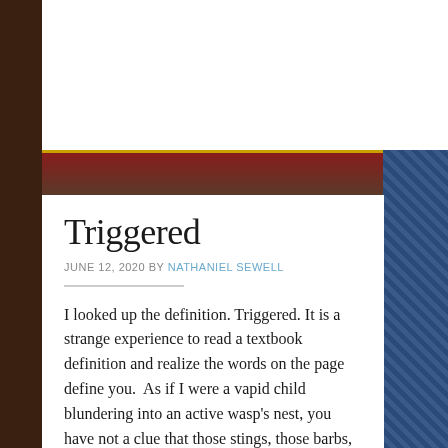Triggered
JUNE 12, 2020 BY NATHANIEL SEWELL
I looked up the definition. Triggered. It is a strange experience to read a textbook definition and realize the words on the page define you.  As if I were a vapid child blundering into an active wasp's nest, you have not a clue that those stings, those barbs, leave behind a lifetime of a slow